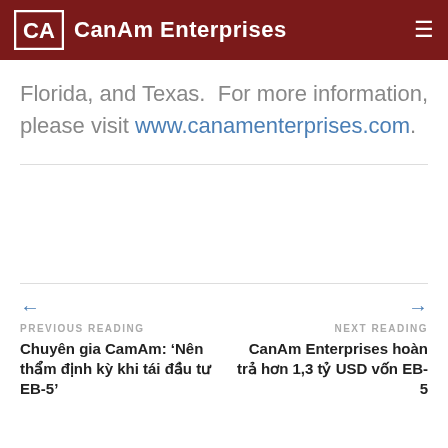CanAm Enterprises
Florida, and Texas.  For more information, please visit www.canamenterprises.com.
← PREVIOUS READING
Chuyên gia CamAm: 'Nên thẩm định kỳ khi tái đầu tư EB-5'
→ NEXT READING
CanAm Enterprises hoàn trả hơn 1,3 tỷ USD vốn EB-5